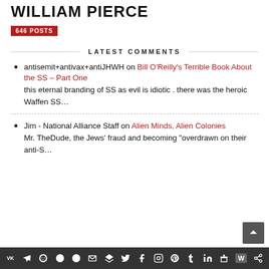WILLIAM PIERCE
646 POSTS
LATEST COMMENTS
antisemit+antivax+antiJHWH on Bill O’Reilly’s Terrible Book About the SS – Part One
this eternal branding of SS as evil is idiotic . there was the heroic Waffen SS…
Jim - National Alliance Staff on Alien Minds, Alien Colonies
Mr. TheDude, the Jews’ fraud and becoming “overdrawn on their anti-S…
Social sharing icons bar